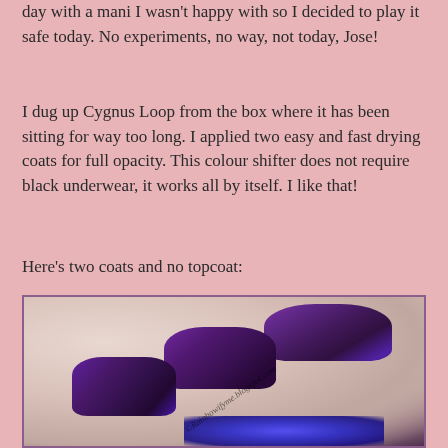day with a mani I wasn't happy with so I decided to play it safe today. No experiments, no way, not today, Jose!
I dug up Cygnus Loop from the box where it has been sitting for way too long. I applied two easy and fast drying coats for full opacity. This colour shifter does not require black underwear, it works all by itself. I like that!
Here's two coats and no topcoat:
[Figure (photo): Close-up photo of a hand showing four fingers with colour-shifting nail polish that appears purple, blue, and magenta. The nails display a multichrome/duochrome effect. Watermark reads ©Rainbowifyme.blogspot.com. There is a blue light reflection visible at the bottom of the image.]